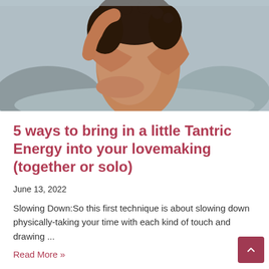[Figure (photo): A person with curly hair embracing themselves, photographed outdoors near rocks, skin tones prominent, artistic/sensual style photo]
5 ways to bring in a little Tantric Energy into your lovemaking (together or solo)
June 13, 2022
Slowing Down:So this first technique is about slowing down physically-taking your time with each kind of touch and drawing ...
Read More »